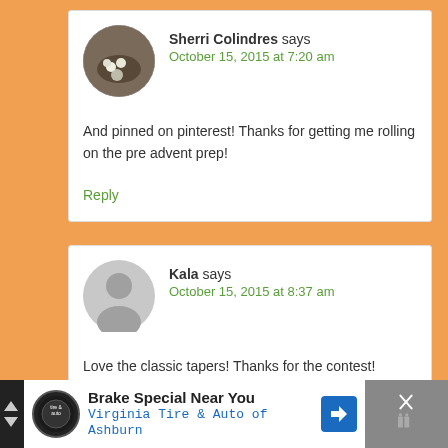[Figure (photo): Circular avatar photo of Sherri Colindres showing eggs or similar round objects in a nest-like setting]
Sherri Colindres says
October 15, 2015 at 7:20 am
And pinned on pinterest! Thanks for getting me rolling on the pre advent prep!
Reply
[Figure (illustration): Generic grey circular avatar placeholder for user Kala]
Kala says
October 15, 2015 at 8:37 am
Love the classic tapers! Thanks for the contest!
Brake Special Near You — Virginia Tire & Auto of Ashburn